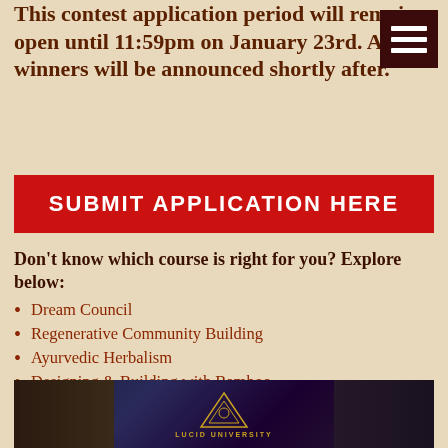This contest application period will remain open until 11:59pm on Ja[nuary] 23rd. And winners will be announced shortly after.
SUBMIT APPLICATION HERE
Don't know which course is right for you? Explore below:
Dream Council
Regenerative Community Building
Ayurvedic Herbalism
Designing & Building with Bamboo
Creating your Personal Mythology
Ecstatic Flow Arts: Movement & Power
[Figure (photo): Banner image showing two people on either side with a geometric gold/amber logo in the center on a dark blue/purple background, with text below reading 'LUCID UNIVERSITY']